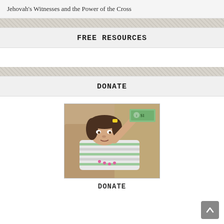Jehovah's Witnesses and the Power of the Cross
FREE RESOURCES
DONATE
[Figure (photo): Young girl lying on a couch holding up a US dollar bill, wearing a striped shirt and bead necklace, with a yellow hair clip]
DONATE